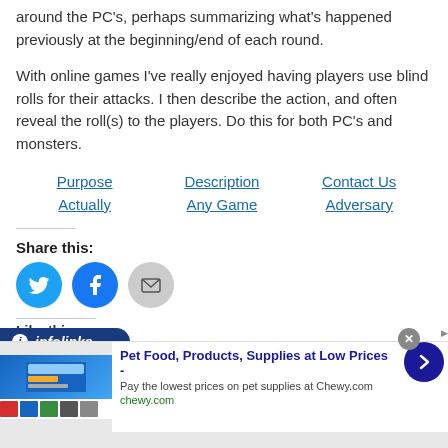around the PC's, perhaps summarizing what's happened previously at the beginning/end of each round.
With online games I've really enjoyed having players use blind rolls for their attacks. I then describe the action, and often reveal the roll(s) to the players. Do this for both PC's and monsters.
Purpose   Description   Contact Us
Actually   Any Game   Adversary   infolinks
Share this:
[Figure (infographic): Social share buttons: Twitter (blue bird), Facebook (blue f), Email (grey envelope)]
[Figure (infographic): Infolinks branded bar and advertisement banner for Chewy.com pet supplies]